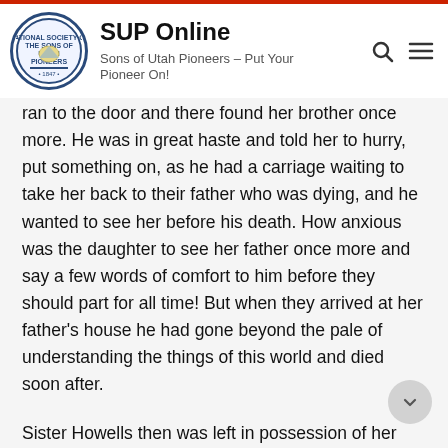SUP Online
Sons of Utah Pioneers – Put Your Pioneer On!
ran to the door and there found her brother once more. He was in great haste and told her to hurry, put something on, as he had a carriage waiting to take her back to their father who was dying, and he wanted to see her before his death. How anxious was the daughter to see her father once more and say a few words of comfort to him before they should part for all time! But when they arrived at her father's house he had gone beyond the pale of understanding the things of this world and died soon after.
Sister Howells then was left in possession of her monthly allowance and also received her share of interest from a coal mine in which her father had been a part owner. She was also able to help carry on the mission...